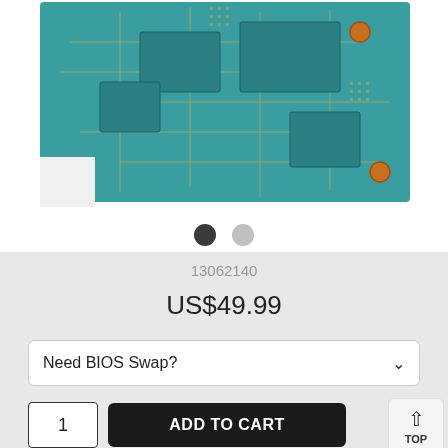[Figure (photo): Close-up photo of a teal/green PCB (printed circuit board) showing electronic traces, solder pads, and components on a white background]
13062140
US$49.99
Need BIOS Swap?
1
ADD TO CART
TOP